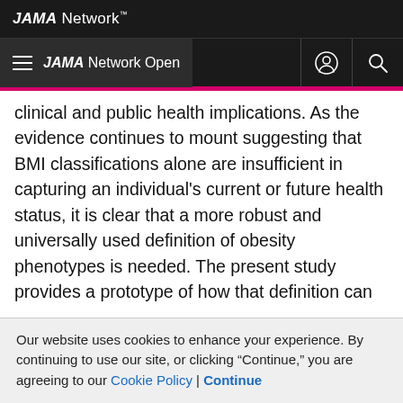JAMA Network
JAMA Network Open
clinical and public health implications. As the evidence continues to mount suggesting that BMI classifications alone are insufficient in capturing an individual's current or future health status, it is clear that a more robust and universally used definition of obesity phenotypes is needed. The present study provides a prototype of how that definition can be derived, but more rigorous tests and evidence using similar techniques are needed, particularly in prospective studies. Once a standardized definition is recognized, we can begin to enumerate the prevalence of people with MHO and MUO, identify factors that can contribute to the stability of MHO
Our website uses cookies to enhance your experience. By continuing to use our site, or clicking "Continue," you are agreeing to our Cookie Policy | Continue